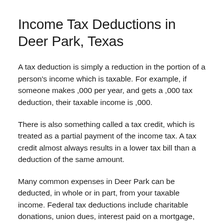Income Tax Deductions in Deer Park, Texas
A tax deduction is simply a reduction in the portion of a person's income which is taxable. For example, if someone makes ,000 per year, and gets a ,000 tax deduction, their taxable income is ,000.
There is also something called a tax credit, which is treated as a partial payment of the income tax. A tax credit almost always results in a lower tax bill than a deduction of the same amount.
Many common expenses in Deer Park can be deducted, in whole or in part, from your taxable income. Federal tax deductions include charitable donations, union dues, interest paid on a mortgage, and state and local taxes.